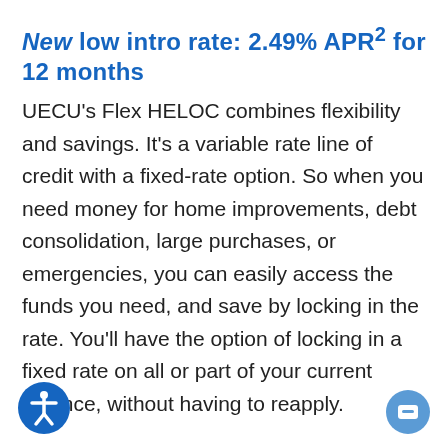New low intro rate: 2.49% APR² for 12 months
UECU's Flex HELOC combines flexibility and savings. It's a variable rate line of credit with a fixed-rate option. So when you need money for home improvements, debt consolidation, large purchases, or emergencies, you can easily access the funds you need, and save by locking in the rate. You'll have the option of locking in a fixed rate on all or part of your current balance, without having to reapply.